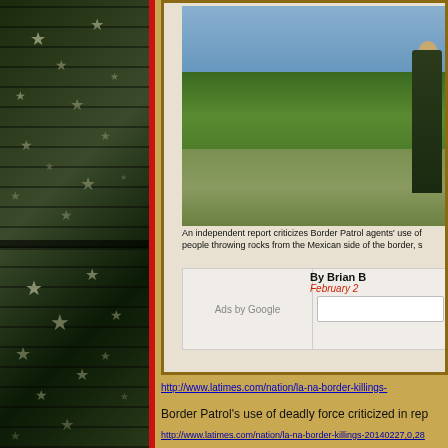[Figure (photo): Left panel showing US flag stars pattern overlay on dark green/military camouflage background with red vertical stripe on right edge]
[Figure (screenshot): Screenshot of LA Times article showing a Border Patrol agent standing near the Rio Grande river bank with vegetation. Caption reads: An independent report criticizes Border Patrol agents' use of [force against] people throwing rocks from the Mexican side of the border, s[howing...]. Byline: By Brian [Bennett], February 2[...]. Ads by Google section visible.]
http://www.latimes.com/nation/la-na-border-killings-
Border Patrol's use of deadly force criticized in rep[ort]
http://www.latimes.com/nation/la-na-border-killings-20140227,0,28[...]